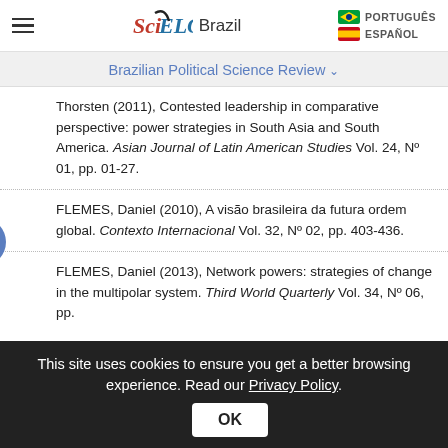SciELO Brazil | PORTUGUÊS | ESPAÑOL
Brazilian Political Science Review
Thorsten (2011), Contested leadership in comparative perspective: power strategies in South Asia and South America. Asian Journal of Latin American Studies Vol. 24, Nº 01, pp. 01-27.
FLEMES, Daniel (2010), A visão brasileira da futura ordem global. Contexto Internacional Vol. 32, Nº 02, pp. 403-436.
FLEMES, Daniel (2013), Network powers: strategies of change in the multipolar system. Third World Quarterly Vol. 34, Nº 06, pp.
This site uses cookies to ensure you get a better browsing experience. Read our Privacy Policy.